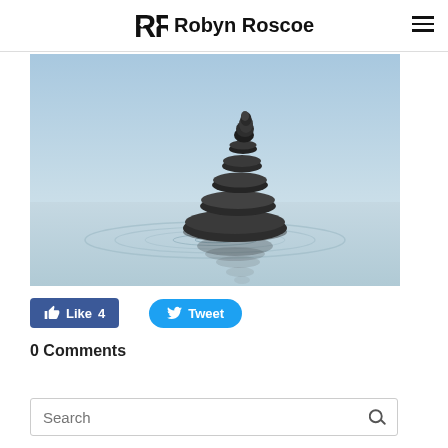Robyn Roscoe
[Figure (photo): Stacked dark zen stones balanced on water with ripples and reflection, against a light blue-grey sky background]
Like 4   Tweet
0 Comments
Search